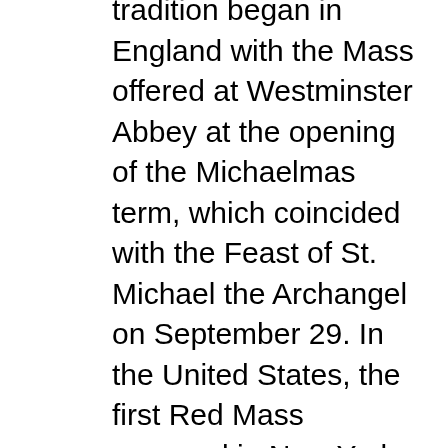tradition began in England with the Mass offered at Westminster Abbey at the opening of the Michaelmas term, which coincided with the Feast of St. Michael the Archangel on September 29. In the United States, the first Red Mass occurred in New York City 92 years ago on October 6, 1928. This Mass was celebrated at Old St. Andrew's Church with Cardinal Patrick Hayes presiding.
So, it is most appropriate that we gather on this Feast of the Archangels Michael, Gabriel, and Raphael for this year's Red Mass as the courts are convened and the books are opened. Certainly, it has been a year for the record books! Nonetheless, sisters and brothers, the Word of God reminds you and me that our God is one who comes to us and meets us where we are at.
The setting for our first reading is at the time of the Babylonian captivity of the Jewish people. In